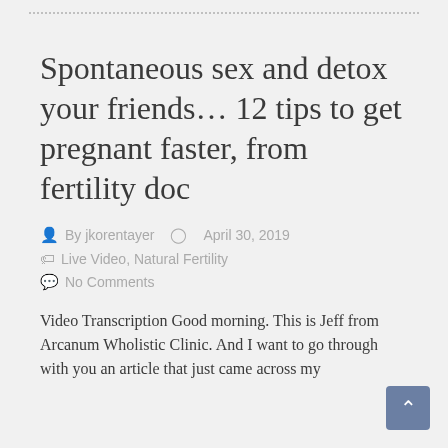Spontaneous sex and detox your friends… 12 tips to get pregnant faster, from fertility doc
By jkorentayer   April 30, 2019
Live Video, Natural Fertility
No Comments
Video Transcription Good morning. This is Jeff from Arcanum Wholistic Clinic. And I want to go through with you an article that just came across my